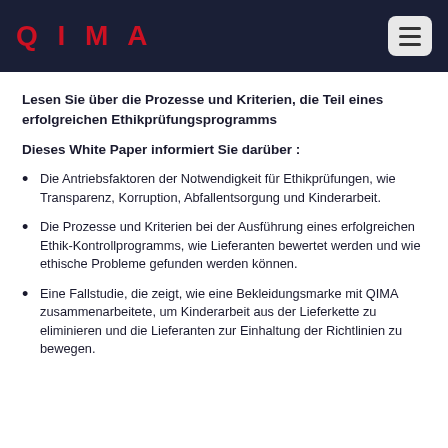QIMA
Lesen Sie über die Prozesse und Kriterien, die Teil eines erfolgreichen Ethikprüfungsprogramms
Dieses White Paper informiert Sie darüber :
Die Antriebsfaktoren der Notwendigkeit für Ethikprüfungen, wie Transparenz, Korruption, Abfallentsorgung und Kinderarbeit.
Die Prozesse und Kriterien bei der Ausführung eines erfolgreichen Ethik-Kontrollprogramms, wie Lieferanten bewertet werden und wie ethische Probleme gefunden werden können.
Eine Fallstudie, die zeigt, wie eine Bekleidungsmarke mit QIMA zusammenarbeitete, um Kinderarbeit aus der Lieferkette zu eliminieren und die Lieferanten zur Einhaltung der Richtlinien zu bewegen.